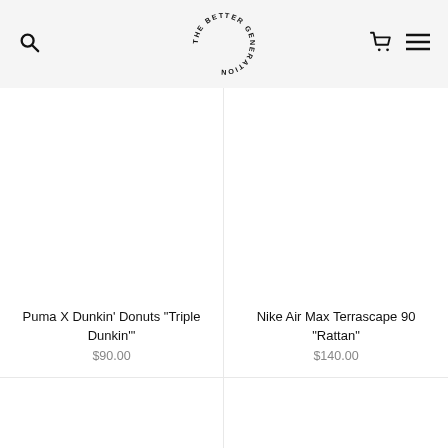The Better Generation – navigation header with search, logo, cart, and menu icons
Puma X Dunkin' Donuts "Triple Dunkin'"
$90.00
Nike Air Max Terrascape 90 "Rattan"
$140.00